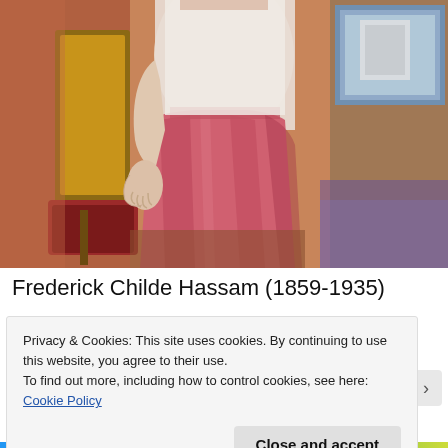[Figure (photo): Painting of a young woman in a white blouse and pink/red skirt standing in an interior room with furniture and a window visible in the background. Detail crop showing torso and lower body.]
Frederick Childe Hassam (1859-1935)
Privacy & Cookies: This site uses cookies. By continuing to use this website, you agree to their use.
To find out more, including how to control cookies, see here: Cookie Policy
Close and accept